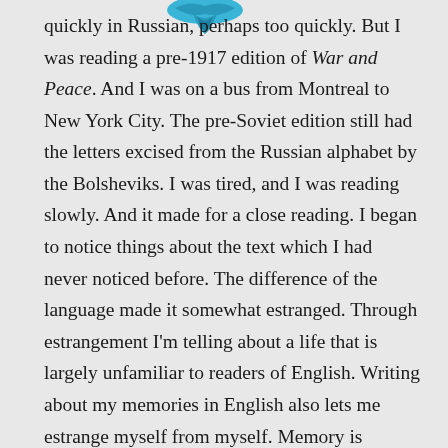[Figure (logo): Blue decorative logo/emblem at top center of page]
quickly in Russian, perhaps too quickly. But I was reading a pre-1917 edition of War and Peace. And I was on a bus from Montreal to New York City. The pre-Soviet edition still had the letters excised from the Russian alphabet by the Bolsheviks. I was tired, and I was reading slowly. And it made for a close reading. I began to notice things about the text which I had never noticed before. The difference of the language made it somewhat estranged. Through estrangement I'm telling about a life that is largely unfamiliar to readers of English. Writing about my memories in English also lets me estrange myself from myself. Memory is everything, because I have a whole life behind my back.